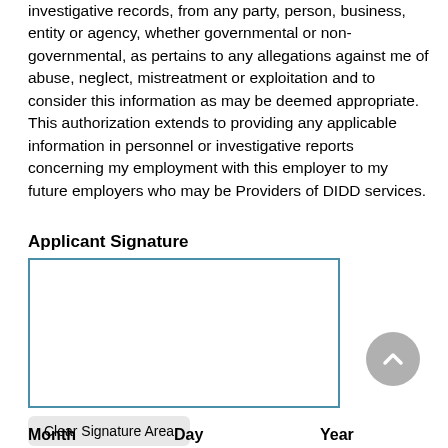investigative records, from any party, person, business, entity or agency, whether governmental or non-governmental, as pertains to any allegations against me of abuse, neglect, mistreatment or exploitation and to consider this information as may be deemed appropriate. This authorization extends to providing any applicable information in personnel or investigative reports concerning my employment with this employer to my future employers who may be Providers of DIDD services.
Applicant Signature
[Figure (other): Signature input box with teal/blue border for applicant signature]
[Figure (other): Gray circular scroll-up button with upward chevron arrow]
Clear Signature Area
Month   Day   Year